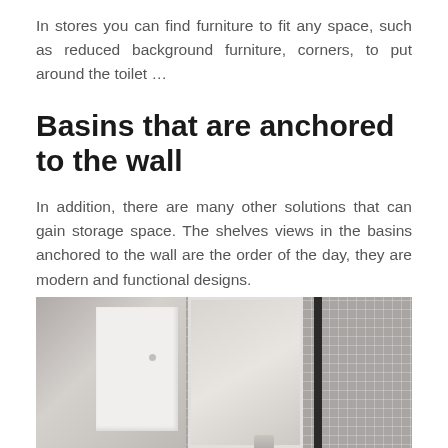In stores you can find furniture to fit any space, such as reduced background furniture, corners, to put around the toilet ...
Basins that are anchored to the wall
In addition, there are many other solutions that can gain storage space. The shelves views in the basins anchored to the wall are the order of the day, they are modern and functional designs.
[Figure (photo): Bathroom interior showing a white wall-mounted cabinet on the left and mosaic tile wall with mirror on the right, with a faucet visible at the bottom]